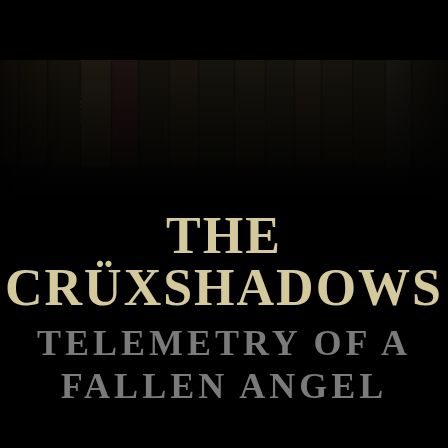[Figure (photo): Dark image of book or cassette spines arranged on a shelf, various titles visible including partial text like 'LESSON', 'RYKO', 'Stantber', 'Duo Quesseas', 'Layback', 'Lorna', 'True Desires', 'MORTAL FEAR', 'Haelfix', 'DANIEL 03', 'cruciblestack']
THE CRÜXSHADOWS
TELEMETRY OF A FALLEN ANGEL